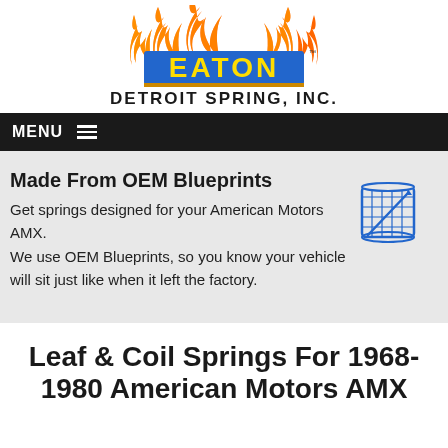[Figure (logo): Eaton Detroit Spring, Inc. logo with flames above bold blue EATON text and tagline DETROIT SPRING, INC.]
MENU ≡
Made From OEM Blueprints
Get springs designed for your American Motors AMX. We use OEM Blueprints, so you know your vehicle will sit just like when it left the factory.
[Figure (illustration): Blueprint scroll icon in blue outline style]
Leaf & Coil Springs For 1968-1980 American Motors AMX